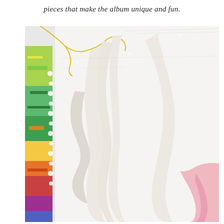pieces that make the album unique and fun.
[Figure (photo): Close-up photograph of white embossed or cut-out decorative script lettering/chipboard pieces arranged on a white background, with colorful patterned paper visible on the left edge including greens, yellows, pinks and other bright colors. A yellow/gold loopy thread or string is also visible near the top left.]